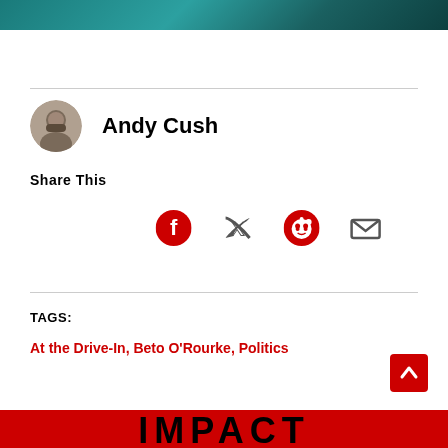[Figure (photo): Teal/green abstract banner image at top of page]
[Figure (photo): Circular avatar photo of Andy Cush, man with beard and glasses]
Andy Cush
Share This
[Figure (infographic): Social sharing icons: Facebook, Twitter, Reddit, Email — all in red]
TAGS:
At the Drive-In, Beto O'Rourke, Politics
IMPACT